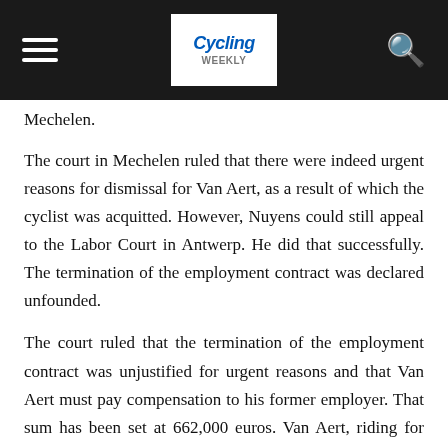Cycling Weekly [logo] [hamburger menu] [search icon]
Mechelen.
The court in Mechelen ruled that there were indeed urgent reasons for dismissal for Van Aert, as a result of which the cyclist was acquitted. However, Nuyens could still appeal to the Labor Court in Antwerp. He did that successfully. The termination of the employment contract was declared unfounded.
The court ruled that the termination of the employment contract was unjustified for urgent reasons and that Van Aert must pay compensation to his former employer. That sum has been set at 662,000 euros. Van Aert, riding for Jumbo-Visma since 2019, also has to pay the legal costs.
“The interpretation of the court deviates 180 degrees from